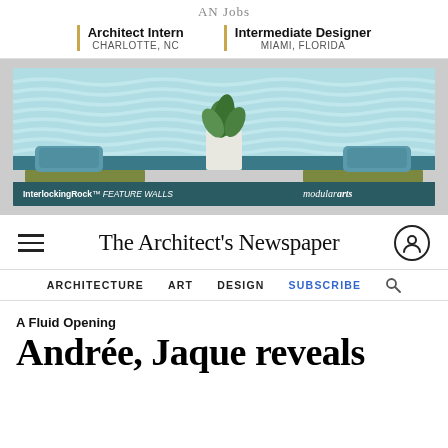AN Jobs
Architect Intern
CHARLOTTE, NC
Intermediate Designer
MIAMI, FLORIDA
[Figure (photo): Advertisement banner for modulararts InterlockingRock FEATURE WALLS — interior scene with wave-textured wall panels in light teal, two upholstered benches with teal marbled cushions, and a potted plant in center. Text: InterlockingRock FEATURE WALLS (lower left), modulararts (lower right).]
The Architect's Newspaper
ARCHITECTURE   ART   DESIGN   SUBSCRIBE
A Fluid Opening
Andrée, Jaque reveals